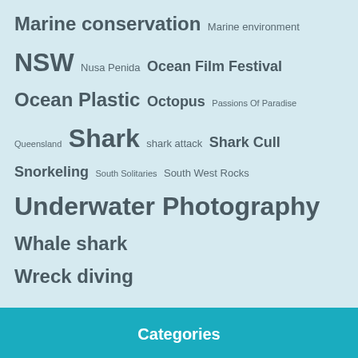[Figure (infographic): Tag cloud on light blue background with marine/diving related tags in various font sizes: Marine conservation, Marine environment, NSW, Nusa Penida, Ocean Film Festival, Ocean Plastic, Octopus, Passions Of Paradise, Queensland, Shark, shark attack, Shark Cull, Snorkeling, South Solitaries, South West Rocks, Underwater Photography, Whale shark, Wreck diving]
Categories
Destination
Diving
Dive Centre
Equipment
Food